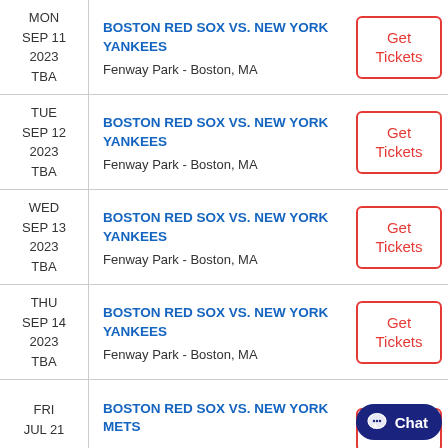| Date | Event | Action |
| --- | --- | --- |
| MON
SEP 11
2023
TBA | BOSTON RED SOX VS. NEW YORK YANKEES
Fenway Park - Boston, MA | Get Tickets |
| TUE
SEP 12
2023
TBA | BOSTON RED SOX VS. NEW YORK YANKEES
Fenway Park - Boston, MA | Get Tickets |
| WED
SEP 13
2023
TBA | BOSTON RED SOX VS. NEW YORK YANKEES
Fenway Park - Boston, MA | Get Tickets |
| THU
SEP 14
2023
TBA | BOSTON RED SOX VS. NEW YORK YANKEES
Fenway Park - Boston, MA | Get Tickets |
| FRI
JUL 21
... | BOSTON RED SOX VS. NEW YORK METS | Get Tickets |